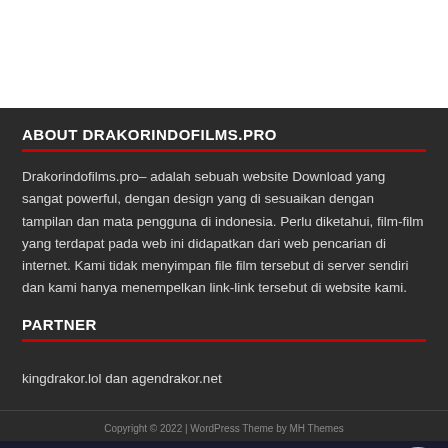ABOUT DRAKORINDOFILMS.PRO
Drakorindofilms.pro– adalah sebuah website Download yang sangat powerful, dengan design yang di sesuaikan dengan tampilan dan mata pengguna di indonesia. Perlu diketahui, film-film yang terdapat pada web ini didapatkan dari web pencarian di internet. Kami tidak menyimpan file film tersebut di server sendiri dan kami hanya menempelkan link-link tersebut di website kami.
PARTNER
kingdrakor.lol dan agendrakor.net
Copyright © 2022 | WordPress Theme by MH Themes
[Figure (infographic): Advertisement banner for 388hero Live Football & Games: PEMBAYARAN BIG WIN TERBESAR = 1.5 MILLIAR]